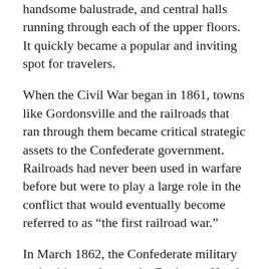handsome balustrade, and central halls running through each of the upper floors. It quickly became a popular and inviting spot for travelers.
When the Civil War began in 1861, towns like Gordonsville and the railroads that ran through them became critical strategic assets to the Confederate government. Railroads had never been used in warfare before but were to play a large role in the conflict that would eventually become referred to as “the first railroad war.”
In March 1862, the Confederate military authorities took over the Exchange Hotel and established it as the headquarters of the Gordonsville Receiving Hospital, which provided medical care to tens of thousands of Northern and Southern troops over the following four years. Wounded soldiers from battle- fields that included Brandy Station, Cedar Mountain, Chancellorsville, Mine Run, Trevilian Station, and the Wilderness were brought into town by rail,